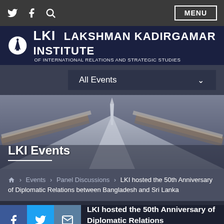Social icons (Twitter, Facebook, Search) | MENU
[Figure (logo): LKI logo with lighthouse icon and text: LAKSHMAN KADIRGAMAR INSTITUTE OF INTERNATIONAL RELATIONS AND STRATEGIC STUDIES]
All Events
[Figure (photo): Aerial or architectural photograph of a building roof/dome, used as hero banner background]
LKI Events
Home > Events > Panel Discussions > LKI hosted the 50th Anniversary of Diplomatic Relations between Bangladesh and Sri Lanka
LKI hosted the 50th Anniversary of Diplomatic Relations with Bangladesh and Sri Lanka
[Figure (infographic): Social sharing bar with Facebook, Twitter, and Email icons at the bottom of the page]